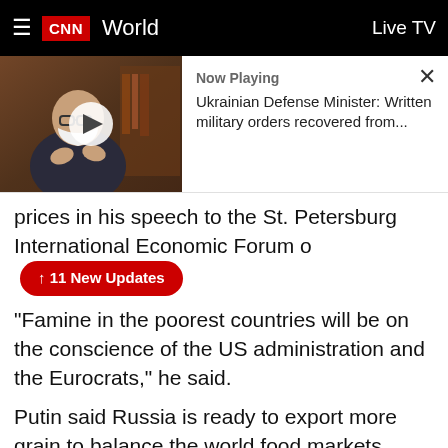CNN World | Live TV
[Figure (screenshot): Video thumbnail showing a man in a mask with a play button overlay]
Now Playing
Ukrainian Defense Minister: Written military orders recovered from...
prices in his speech to the St. Petersburg International Economic Forum o
↑ 11 New Updates
"Famine in the poorest countries will be on the conscience of the US administration and the Eurocrats," he said.
Putin said Russia is ready to export more grain to balance the world food markets. Russia's focus will be on supplying food to those countries that are at risk of facing famine, he said.
Some key context: Global leaders have strongly